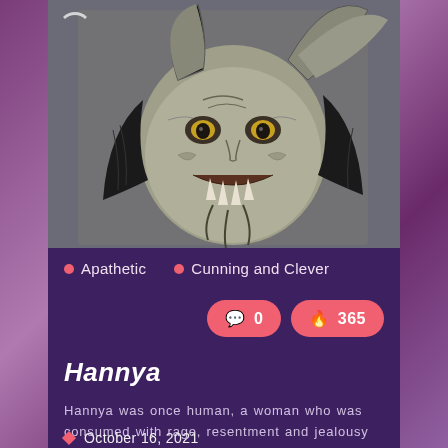[Figure (illustration): Japanese Hannya demon mask artwork — a horned demonic face with fangs, serpentine features, rendered in black and grey pencil/ink style on a muted grey-green background]
Apathetic
Cunning and Clever
0
365
Hannya
Hannya was once human, a woman who was consumed with rage, resentment and jealousy and turned into a demoness.
October 16, 2021